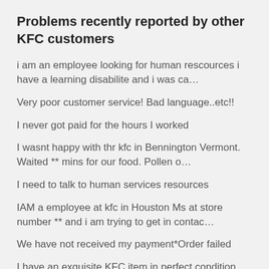Problems recently reported by other KFC customers
i am an employee looking for human rescources i have a learning disabilite and i was ca…
Very poor customer service! Bad language..etc!!
I never got paid for the hours I worked
I wasnt happy with thr kfc in Bennington Vermont. Waited ** mins for our food. Pollen o…
I need to talk to human services resources
IAM a employee at kfc in Houston Ms at store number ** and i am trying to get in contac…
We have not received my payment*Order failed
I have an exquisite KFC item in perfect condition which would be best appreciated by KF…